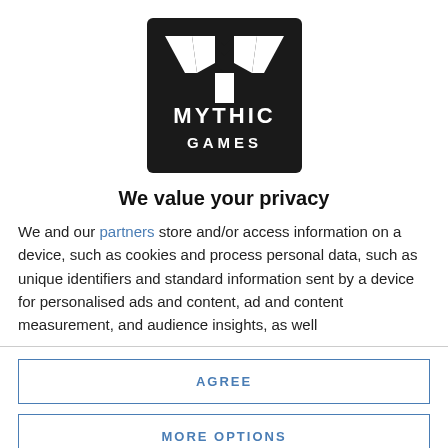[Figure (logo): Mythic Games logo — black square with white stylized M/Y shape and 'MYTHIC GAMES' text below]
We value your privacy
We and our partners store and/or access information on a device, such as cookies and process personal data, such as unique identifiers and standard information sent by a device for personalised ads and content, ad and content measurement, and audience insights, as well
AGREE
MORE OPTIONS
doesn't have to be a new component. Sometimes just using